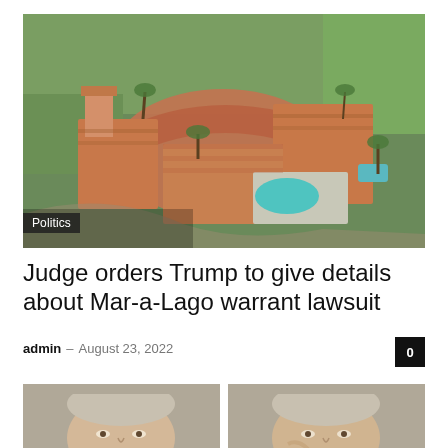[Figure (photo): Aerial view of Mar-a-Lago estate in Palm Beach, Florida, showing the Spanish-style mansion with terracotta roofs, a swimming pool, lush palm trees and greenery]
Politics
Judge orders Trump to give details about Mar-a-Lago warrant lawsuit
admin – August 23, 2022
0
[Figure (photo): Two side-by-side mugshot-style photos showing headshots of individuals, cropped at the forehead and chin area]